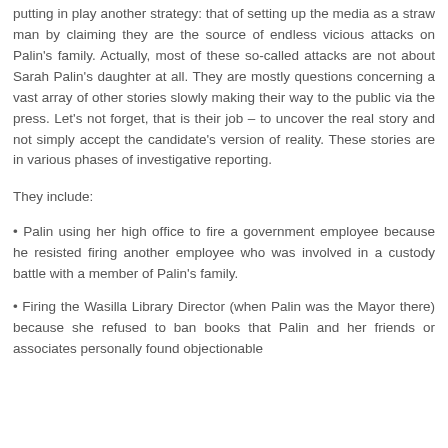putting in play another strategy: that of setting up the media as a straw man by claiming they are the source of endless vicious attacks on Palin's family. Actually, most of these so-called attacks are not about Sarah Palin's daughter at all. They are mostly questions concerning a vast array of other stories slowly making their way to the public via the press. Let's not forget, that is their job – to uncover the real story and not simply accept the candidate's version of reality. These stories are in various phases of investigative reporting.
They include:
• Palin using her high office to fire a government employee because he resisted firing another employee who was involved in a custody battle with a member of Palin's family.
• Firing the Wasilla Library Director (when Palin was the Mayor there) because she refused to ban books that Palin and her friends or associates personally found objectionable